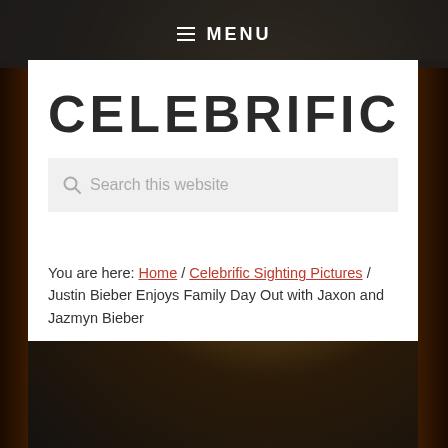≡ MENU
CELEBRIFIC
Search this website
You are here: Home / Celebrific Sighting Pictures / Justin Bieber Enjoys Family Day Out with Jaxon and Jazmyn Bieber